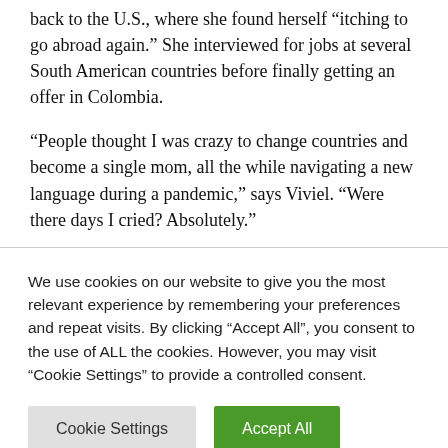back to the U.S., where she found herself “itching to go abroad again.” She interviewed for jobs at several South American countries before finally getting an offer in Colombia.
“People thought I was crazy to change countries and become a single mom, all the while navigating a new language during a pandemic,” says Viviel. “Were there days I cried? Absolutely.”
We use cookies on our website to give you the most relevant experience by remembering your preferences and repeat visits. By clicking “Accept All”, you consent to the use of ALL the cookies. However, you may visit "Cookie Settings" to provide a controlled consent.